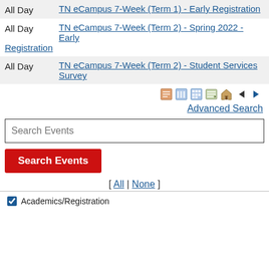All Day | TN eCampus 7-Week (Term 1) - Early Registration
All Day | TN eCampus 7-Week (Term 2) - Spring 2022 - Early Registration
All Day | TN eCampus 7-Week (Term 2) - Student Services Survey
[Figure (other): Navigation icons: day view, week view, month view, agenda/list view, home, previous, next arrows]
Advanced Search
Search Events (input field placeholder)
Search Events (button)
[ All | None ]
Academics/Registration (checkbox)